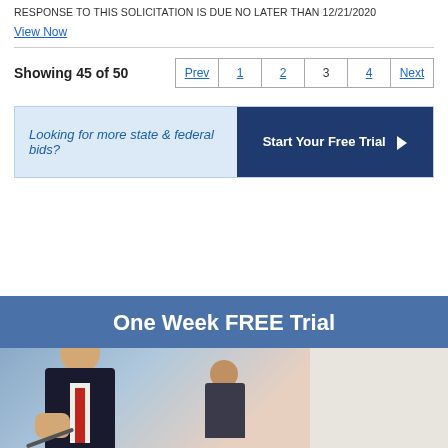RESPONSE TO THIS SOLICITATION IS DUE NO LATER THAN 12/21/2020
View Now
Showing 45 of 50
Prev 1 2 3 4 Next
Looking for more state & federal bids?
Start Your Free Trial ►
One Week FREE Trial
[Figure (photo): Two businesspeople in suits, one in foreground signing document, one in background]